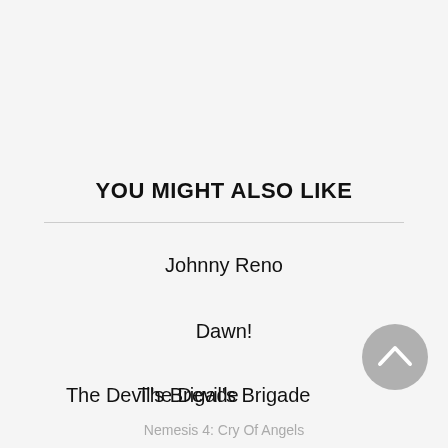YOU MIGHT ALSO LIKE
Johnny Reno
Dawn!
The Devil's Brigade
The Void
Nemesis 4: Cry Of Angels